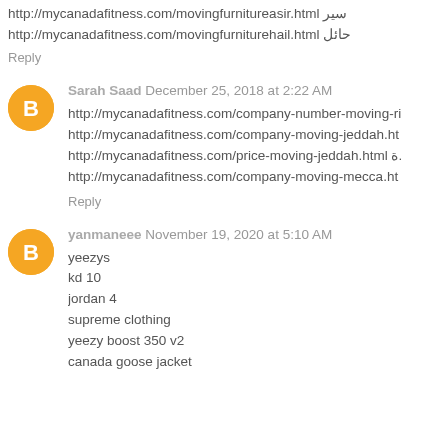http://mycanadafitness.com/movingfurnitureasir.html سير http://mycanadafitness.com/movingfurniturehail.html حائل
Reply
Sarah Saad December 25, 2018 at 2:22 AM
http://mycanadafitness.com/company-number-moving-ri http://mycanadafitness.com/company-moving-jeddah.ht http://mycanadafitness.com/price-moving-jeddah.html ة. http://mycanadafitness.com/company-moving-mecca.ht
Reply
yanmaneee November 19, 2020 at 5:10 AM
yeezys
kd 10
jordan 4
supreme clothing
yeezy boost 350 v2
canada goose jacket